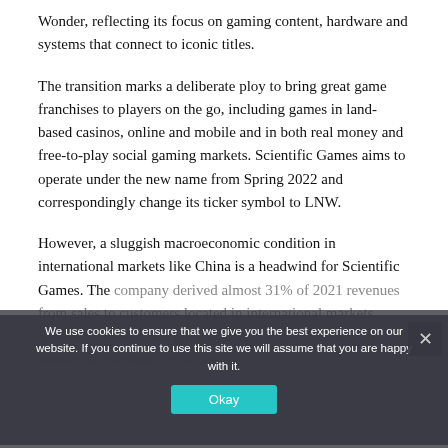Wonder, reflecting its focus on gaming content, hardware and systems that connect to iconic titles.
The transition marks a deliberate ploy to bring great game franchises to players on the go, including games in land-based casinos, online and mobile and in both real money and free-to-play social gaming markets. Scientific Games aims to operate under the new name from Spring 2022 and correspondingly change its ticker symbol to LNW.
However, a sluggish macroeconomic condition in international markets like China is a headwind for Scientific Games. The company derived almost 31% of 2021 revenues from sales to customers located in international markets. Slower-than-expected growth in such major markets will remain an overhang on the stock.
We use cookies to ensure that we give you the best experience on our website. If you continue to use this site we will assume that you are happy with it.
Okay